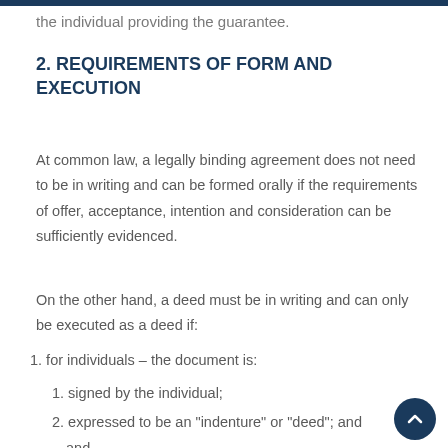the individual providing the guarantee.
2. REQUIREMENTS OF FORM AND EXECUTION
At common law, a legally binding agreement does not need to be in writing and can be formed orally if the requirements of offer, acceptance, intention and consideration can be sufficiently evidenced.
On the other hand, a deed must be in writing and can only be executed as a deed if:
1. for individuals – the document is:
1. signed by the individual;
2. expressed to be an "indenture" or "deed"; and
and